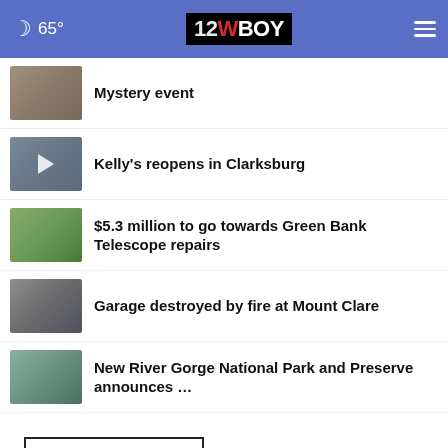65° 12WBOY
Mystery event
Kelly's reopens in Clarksburg
$5.3 million to go towards Green Bank Telescope repairs
Garage destroyed by fire at Mount Clare
New River Gorge National Park and Preserve announces …
More Stories ▶